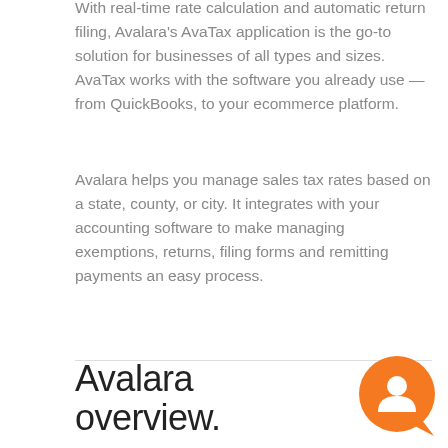With real-time rate calculation and automatic return filing, Avalara's AvaTax application is the go-to solution for businesses of all types and sizes. AvaTax works with the software you already use — from QuickBooks, to your ecommerce platform.
Avalara helps you manage sales tax rates based on a state, county, or city. It integrates with your accounting software to make managing exemptions, returns, filing forms and remitting payments an easy process.
Avalara overview.
[Figure (logo): Orange circular chat/support icon with a stylized 'a' or person silhouette inside, on a white background, positioned bottom right]